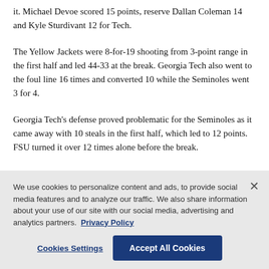it. Michael Devoe scored 15 points, reserve Dallan Coleman 14 and Kyle Sturdivant 12 for Tech.
The Yellow Jackets were 8-for-19 shooting from 3-point range in the first half and led 44-33 at the break. Georgia Tech also went to the foul line 16 times and converted 10 while the Seminoles went 3 for 4.
Georgia Tech’s defense proved problematic for the Seminoles as it came away with 10 steals in the first half, which led to 12 points. FSU turned it over 12 times alone before the break.
We use cookies to personalize content and ads, to provide social media features and to analyze our traffic. We also share information about your use of our site with our social media, advertising and analytics partners. Privacy Policy
Cookies Settings | Accept All Cookies